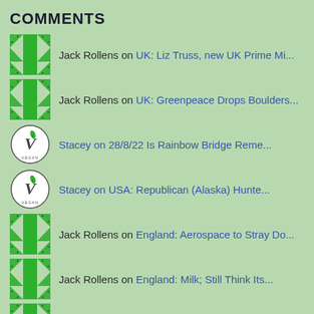COMMENTS
Jack Rollens on UK: Liz Truss, new UK Prime Mi...
Jack Rollens on UK: Greenpeace Drops Boulders...
Stacey on 28/8/22 Is Rainbow Bridge Reme...
Stacey on USA: Republican (Alaska) Hunte...
Jack Rollens on England: Aerospace to Stray Do...
Jack Rollens on England: Milk; Still Think Its...
Jack Rollens on UK: Rabbit Farm Closure; Reind...
Jack Rollens on USA: Republican (Alaska) Hunte...